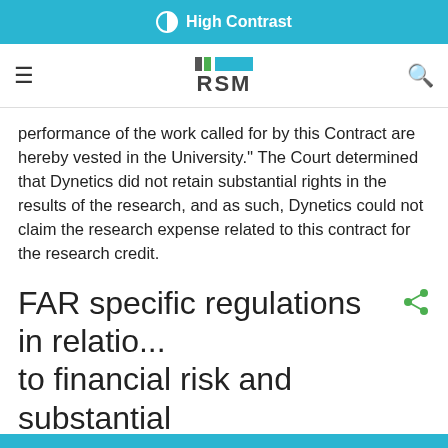High Contrast
performance of the work called for by this Contract are hereby vested in the University.'' The Court determined that Dynetics did not retain substantial rights in the results of the research, and as such, Dynetics could not claim the research expense related to this contract for the research credit.
FAR specific regulations in relation to financial risk and substantial rights
The Federal Acquisition Regulations (FAR) and Defense